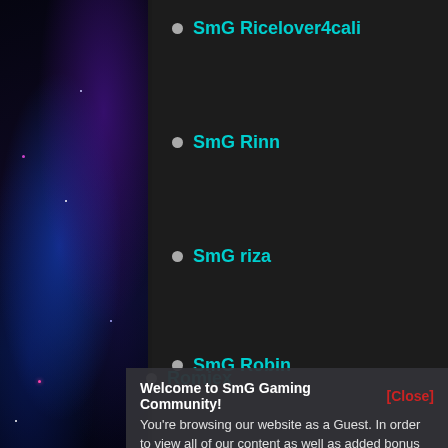SmG Ricelover4cali
SmG Rinn
SmG riza
SmG Robin
Romiex
Welcome to SmG Gaming Community! [Close]
You're browsing our website as a Guest. In order to view all of our content as well as added bonus features, please register by clicking HERE